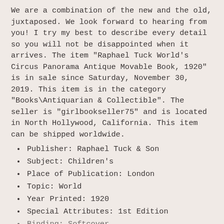We are a combination of the new and the old, juxtaposed. We look forward to hearing from you! I try my best to describe every detail so you will not be disappointed when it arrives. The item "Raphael Tuck World's Circus Panorama Antique Movable Book, 1920" is in sale since Saturday, November 30, 2019. This item is in the category "Books\Antiquarian & Collectible". The seller is "girlbookseller75" and is located in North Hollywood, California. This item can be shipped worldwide.
Publisher: Raphael Tuck & Son
Subject: Children's
Place of Publication: London
Topic: World
Year Printed: 1920
Special Attributes: 1st Edition
Binding: Softcover (partial, cut off)